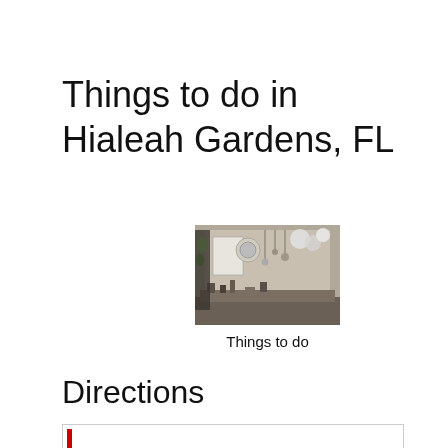Things to do in Hialeah Gardens, FL
[Figure (photo): Interior photo of a shop or activity venue, showing decorations and items on the walls and ceiling]
Things to do
Directions